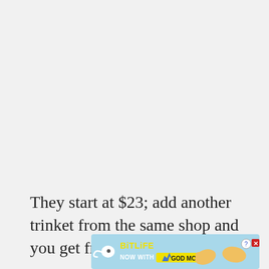They start at $23; add another trinket from the same shop and you get free shipping at
[Figure (illustration): BitLife mobile game advertisement banner with cartoon sperm mascot, lightning bolt, pointing hand, and text 'BitLife NOW WITH GOD MODE' on a light blue background]